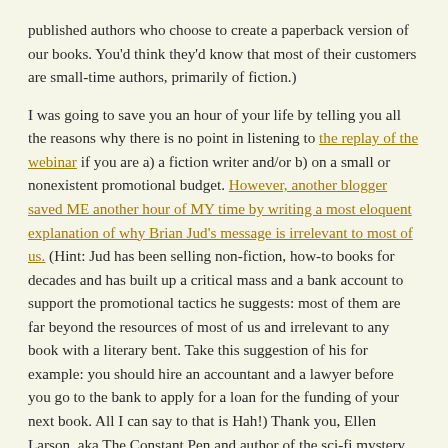published authors who choose to create a paperback version of our books. You'd think they'd know that most of their customers are small-time authors, primarily of fiction.)
I was going to save you an hour of your life by telling you all the reasons why there is no point in listening to the replay of the webinar if you are a) a fiction writer and/or b) on a small or nonexistent promotional budget. However, another blogger saved ME another hour of MY time by writing a most eloquent explanation of why Brian Jud's message is irrelevant to most of us. (Hint: Jud has been selling non-fiction, how-to books for decades and has built up a critical mass and a bank account to support the promotional tactics he suggests: most of them are far beyond the resources of most of us and irrelevant to any book with a literary bent. Take this suggestion of his for example: you should hire an accountant and a lawyer before you go to the bank to apply for a loan for the funding of your next book. All I can say to that is Hah!) Thank you, Ellen Larson, aka The Constant Pen and author of the sci-fi mystery In Retrospect, for an excellent summary and critique.
As Ellen does on hers, I have been making an effort, based on my own self-interests, to make the tips I present here on this blog specifically